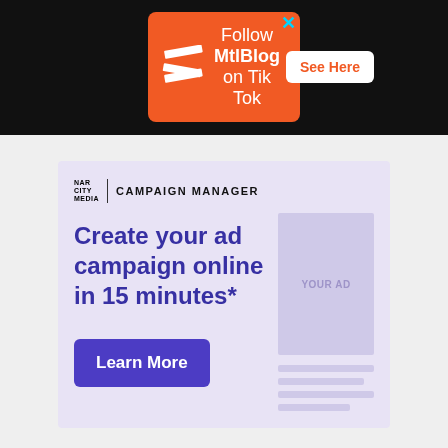[Figure (screenshot): Orange banner advertisement for MtlBlog TikTok with Z logo, text 'Follow MtlBlog on Tik Tok', and a 'See Here' button on white background]
[Figure (screenshot): Narbity Media Campaign Manager advertisement card with purple background, headline 'Create your ad campaign online in 15 minutes*', a 'Learn More' button, and an ad preview placeholder on the right]
Follow MtlBlog on Tik Tok
See Here
Create your ad campaign online in 15 minutes*
Learn More